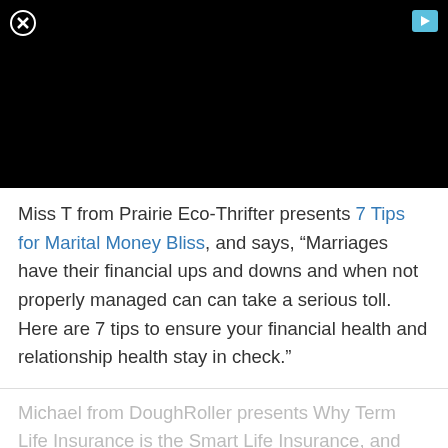[Figure (other): Black video player area with a close (X) button in the top-left and a blue play button in the top-right]
Miss T from Prairie Eco-Thrifter presents 7 Tips for Marital Money Bliss, and says, “Marriages have their financial ups and downs and when not properly managed can can take a serious toll. Here are 7 tips to ensure your financial health and relationship health stay in check.”
Michael from DoughRoller presents Why Term Life Insurance is the Smart Life Insurance, and